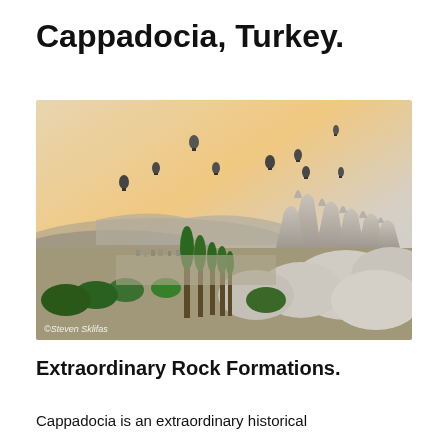Cappadocia, Turkey.
[Figure (photo): Wide landscape photograph of Cappadocia, Turkey, showing distinctive fairy chimney rock formations on the right side, green cypress trees in the middle ground, a vast valley with buildings and terrain stretching to hilly ridges in the background, and numerous hot air balloons floating in a hazy golden-orange sky. A watermark reads '©Steven Sklifas' in the lower left corner.]
Extraordinary Rock Formations.
Cappadocia is an extraordinary historical